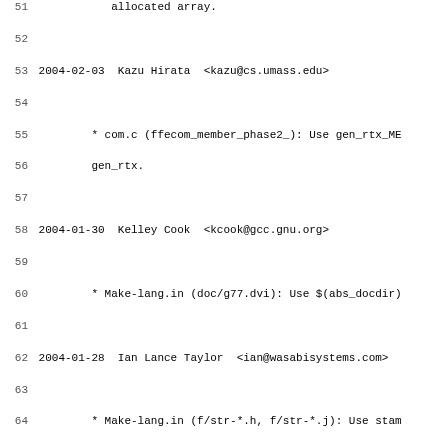51     allocated array.
52
53 2004-02-03  Kazu Hirata  <kazu@cs.umass.edu>
54
55         * com.c (ffecom_member_phase2_): Use gen_rtx_ME
56         gen_rtx.
57
58 2004-01-30  Kelley Cook  <kcook@gcc.gnu.org>
59
60         * Make-lang.in (doc/g77.dvi): Use $(abs_docdir)
61
62 2004-01-28  Ian Lance Taylor  <ian@wasabisystems.com>
63
64         * Make-lang.in (f/str-*.h, f/str-*.j): Use stam
65         move-if-change to avoid changing these files un
66
67 2004-01-20  Kelley Cook  <kcook@gcc.gnu.org>
68
69         * Make-lang.in: Replace $(docdir) with doc.
70         (TEXI_G77_FILES): Define.
71         (f77.rebuilt): Delete.
72         (f77.srcextra): Add dependencies on f/BUGS and
73         (f77.srcman, f77.srcinfo, f77.man, f77.info): M
74         (doc/g77.info, doc/g77.dvi): Depend on TEXI_G77
75         doc directory.  Use $(MAKEINFOFLAGS).
76         (info, dvi, generated_manpages): Update to look
77         (f/BUGS, f/NEWS): Generate in build directory.
78         (f77.mostlyclean): Delete BUGS and NEWS from bu
79         (f77.maintainer-clean): Adjust to delete from s
80         (f77.install-man): Revamp rule.
81
82 2004-01-20  Kelley Cook  <kcook@gcc.gnu.org>